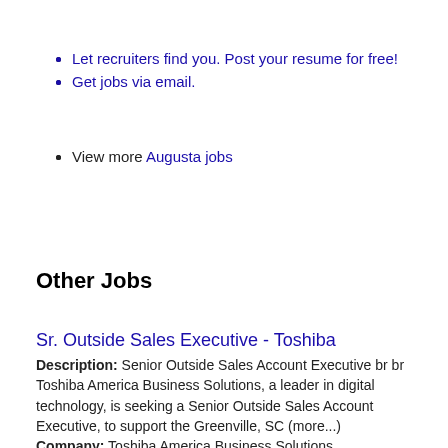Let recruiters find you. Post your resume for free!
Get jobs via email.
View more Augusta jobs
Other Jobs
Sr. Outside Sales Executive - Toshiba
Description: Senior Outside Sales Account Executive br br Toshiba America Business Solutions, a leader in digital technology, is seeking a Senior Outside Sales Account Executive, to support the Greenville, SC (more...)
Company: Toshiba America Business Solutions
Location: Greenville